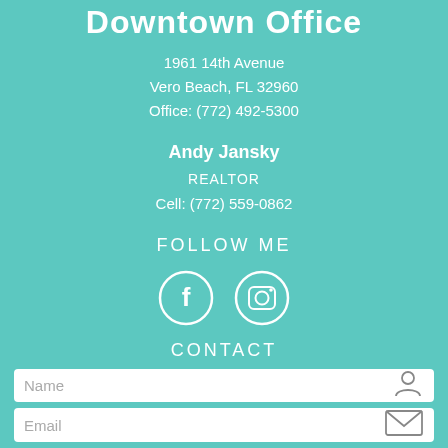Downtown Office
1961 14th Avenue
Vero Beach, FL 32960
Office: (772) 492-5300
Andy Jansky
REALTOR
Cell: (772) 559-0862
FOLLOW ME
[Figure (illustration): Facebook and Instagram social media icons (white circles with f and camera symbols)]
CONTACT
[Figure (screenshot): Name input field with person icon]
[Figure (screenshot): Email input field with envelope icon]